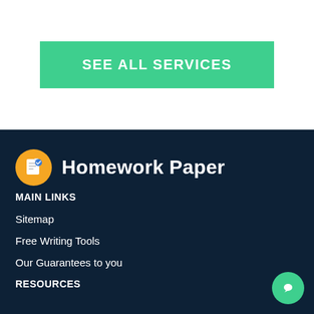SEE ALL SERVICES
[Figure (logo): Homework Paper logo with golden circle icon containing a checklist document and bold white text 'Homework Paper' on dark navy background]
MAIN LINKS
Sitemap
Free Writing Tools
Our Guarantees to you
RESOURCES